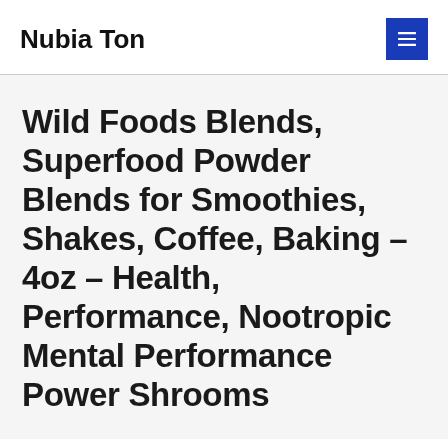Nubia Ton
Wild Foods Blends, Superfood Powder Blends for Smoothies, Shakes, Coffee, Baking – 4oz – Health, Performance, Nootropic Mental Performance Power Shrooms